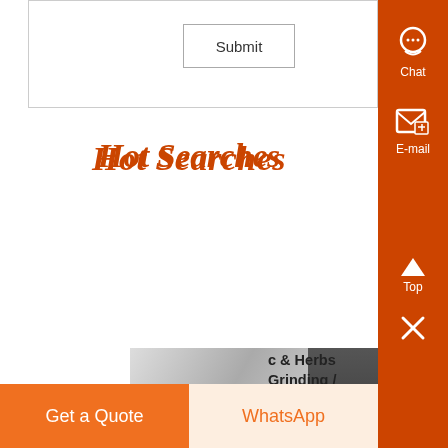|  |  |
| --- | --- |
|  | Submit |
Hot Searches
[Figure (photo): Close-up photo of industrial grinding/pulverizing machine components showing metal surface with bolt/screw detail on left and dark cylindrical chamber on right]
c & Herbs Grinding / ng Plant – Premium ,
treenless Pulverizer Fineness is y adjusting wizzer blade t in the cone Extra Large Dust can be Provided for Spices Containing more 0il Screen Less Pulveriser With Wizzer Cone Classified For Finner Pulverizing...
Know More
Get a Quote
WhatsApp